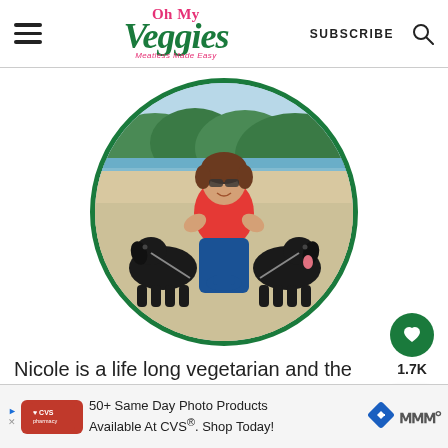Oh My Veggies — Meatless Made Easy | SUBSCRIBE
[Figure (photo): Circular profile photo of Nicole, a woman wearing sunglasses and a red tank top, kneeling on a beach between two black dogs on leashes]
Nicole is a life long vegetarian and the
[Figure (infographic): Ad banner: 50+ Same Day Photo Products Available At CVS®. Shop Today!]